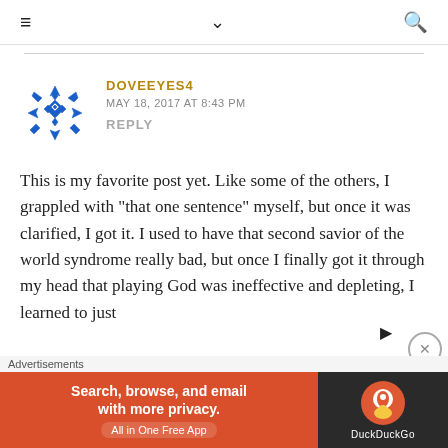≡  ∨  🔍
DOVEEYES4
MAY 18, 2017 AT 8:43 PM
REPLY
This is my favorite post yet. Like some of the others, I grappled with "that one sentence" myself, but once it was clarified, I got it. I used to have that second savior of the world syndrome really bad, but once I finally got it through my head that playing God was ineffective and depleting, I learned to just
[Figure (other): DuckDuckGo advertisement banner: Search, browse, and email with more privacy. All in One Free App. DuckDuckGo logo.]